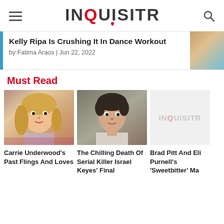INQUISITR
Kelly Ripa Is Crushing It In Dance Workout
by Fatima Araos | Jun 22, 2022
Must Read
[Figure (photo): Photo of Carrie Underwood, blonde woman with glamorous makeup]
Carrie Underwood's Past Flings And Loves
[Figure (photo): Mugshot photo of Israel Keyes, dark-haired man]
The Chilling Death Of Serial Killer Israel Keyes' Final
[Figure (logo): Inquisitr logo placeholder image]
Brad Pitt And Eli Purnell's 'Sweetbitter' Ma